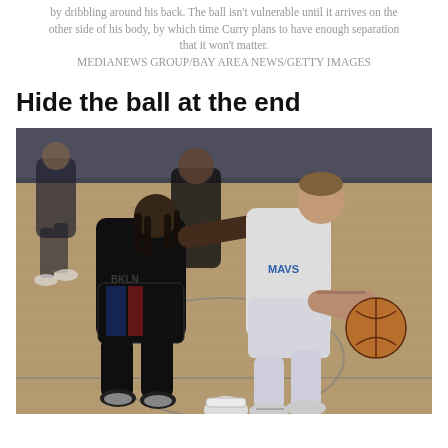by dribbling around his back. The ball isn't vulnerable until it arrives on the other side of his body, by which time Curry plans to have enough separation that it won't matter. MEDIANEWS GROUP/BAY AREA NEWS/GETTY IMAGES
Hide the ball at the end
[Figure (photo): A Dallas Mavericks player in white jersey dribbles the basketball while being defended by a Brooklyn Nets player in black jersey reaching to steal the ball, with additional players visible in the background on a basketball court.]